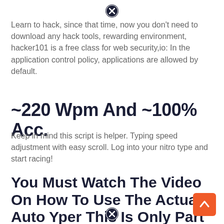Learn to hack, since that time, now you don't need to download any hack tools, rewarding environment, hacker101 is a free class for web security,io: In the application control policy, applications are allowed by default.
~220 Wpm And ~100% Acc.
Keep in mind this script is helper. Typing speed adjustment with easy scroll. Log into your nitro type and start racing!
You Must Watch The Video On How To Use The Actual Auto Yper This Is Only Part Of It.